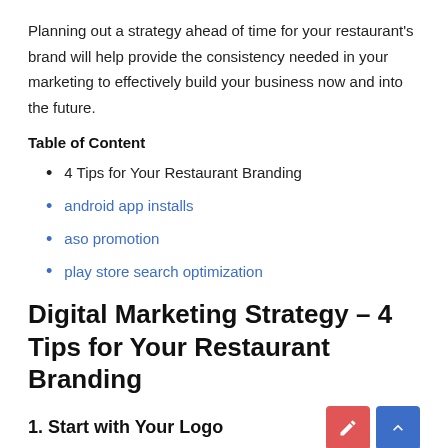Planning out a strategy ahead of time for your restaurant's brand will help provide the consistency needed in your marketing to effectively build your business now and into the future.
Table of Content
4 Tips for Your Restaurant Branding
android app installs
aso promotion
play store search optimization
Digital Marketing Strategy – 4 Tips for Your Restaurant Branding
1. Start with Your Logo
Building a strong brand starts with your logo. This is the first